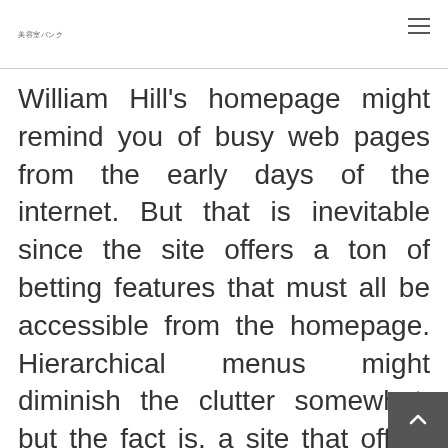美容室バンク
William Hill's homepage might remind you of busy web pages from the early days of the internet. But that is inevitable since the site offers a ton of betting features that must all be accessible from the homepage. Hierarchical menus might diminish the clutter somewhat, but the fact is, a site that offers this much value to its bettors is going to look a bit busy. The site operates flawlessly on mobile devices via the browser, but you'll have a better